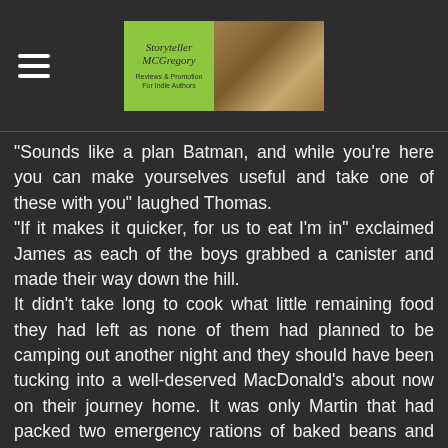Storyteller MCGregory - Reviews & Promotion For Indie Authors
"Sounds like a plan Batman, and while you're here you can make yourselves useful and take one of these with you" laughed Thomas.
"If it makes it quicker, for us to eat I'm in" exclaimed James as each of the boys grabbed a canister and made their way down the hill.
It didn't take long to cook what little remaining food they had left as none of them had planned to be camping out another night and they should have been tucking into a well-deserved MacDonald's about now on their journey home. It was only Martin that had packed two emergency rations of baked beans and tinned hotdogs, the snacks and junk the group had left had been pooled into one pile next to the fire for afters.
"Who the fuck packed muesli bars, yogurt covered strawberries and rice cakes? Let me guess, it was you